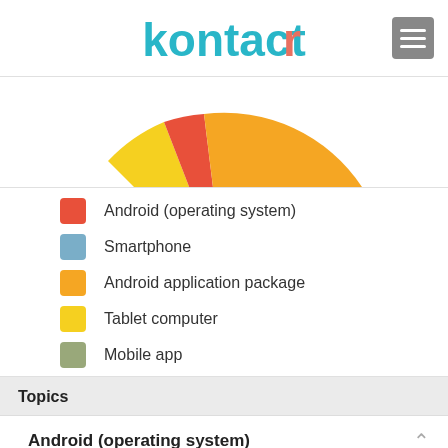kontactr
[Figure (pie-chart): Topics pie chart]
Android (operating system)
Smartphone
Android application package
Tablet computer
Mobile app
Topics
Android (operating system)
Confidence: 90%